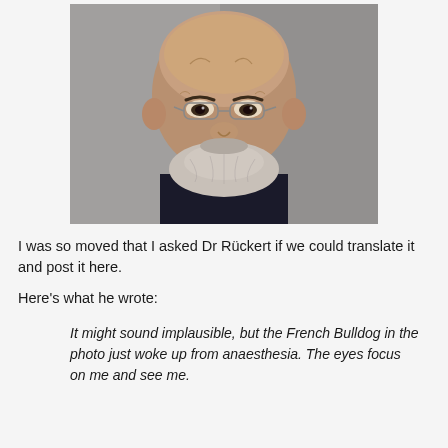[Figure (photo): Close-up portrait of a bald middle-aged man with wire-rimmed glasses and a grey beard, wearing a dark shirt, against a grey background.]
I was so moved that I asked Dr Rückert if we could translate it and post it here.
Here's what he wrote:
It might sound implausible, but the French Bulldog in the photo just woke up from anaesthesia. The eyes focus on me and see me.